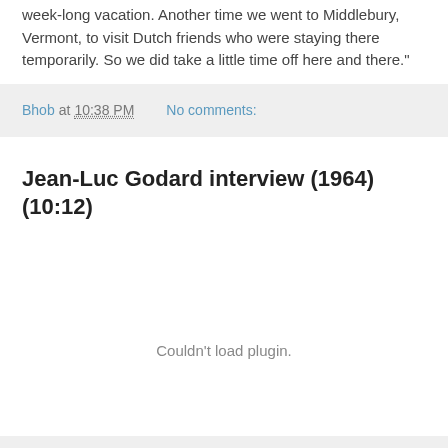week-long vacation. Another time we went to Middlebury, Vermont, to visit Dutch friends who were staying there temporarily. So we did take a little time off here and there."
Bhob at 10:38 PM    No comments:
Jean-Luc Godard interview (1964) (10:12)
[Figure (other): Embedded media plugin area showing 'Couldn't load plugin.' message]